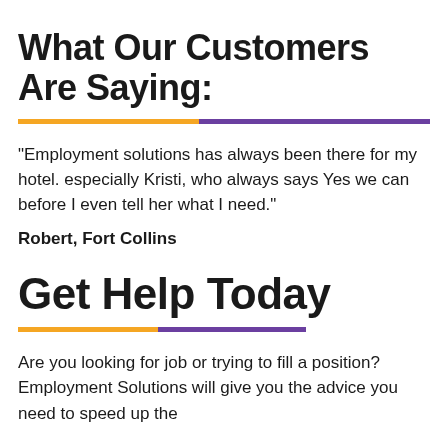What Our Customers Are Saying:
"Employment solutions has always been there for my hotel. especially Kristi, who always says Yes we can before I even tell her what I need."
Robert, Fort Collins
Get Help Today
Are you looking for job or trying to fill a position? Employment Solutions will give you the advice you need to speed up the